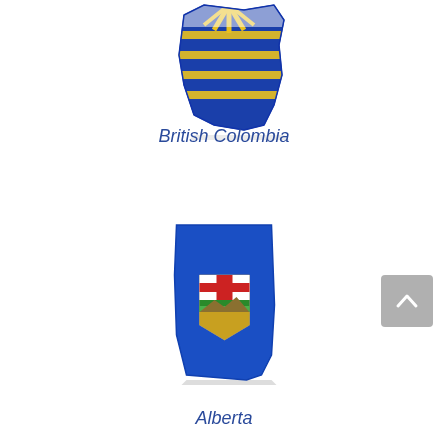[Figure (illustration): 3D rendered map shape of British Columbia province with blue and yellow flag design on it]
British Columbia
[Figure (illustration): 3D rendered map shape of Alberta province in blue with coat of arms shield showing red cross, green stripes, and gold crest]
Alberta